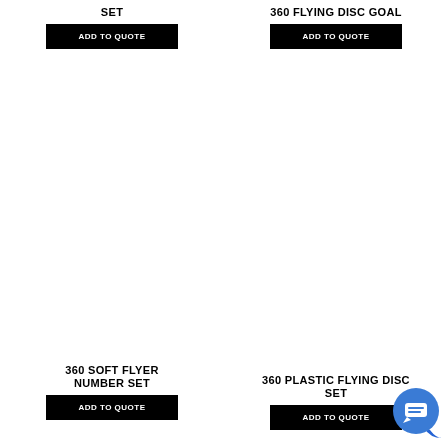SET
ADD TO QUOTE
360 FLYING DISC GOAL
ADD TO QUOTE
360 SOFT FLYER NUMBER SET
ADD TO QUOTE
360 PLASTIC FLYING DISC SET
ADD TO QUOTE